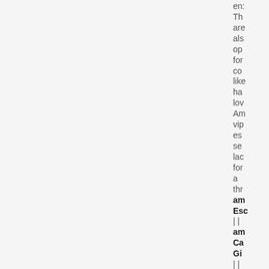en: Th are als op for co like ha lov Am vip es se lac for a thr am Esc || am Ca Gi ||